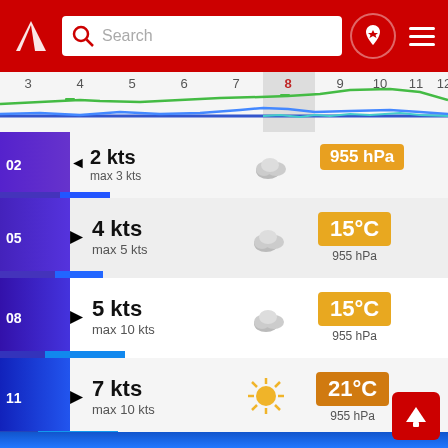[Figure (screenshot): Weather app header with red background, logo, search bar, pin icon, and hamburger menu]
[Figure (line-chart): Wind/pressure timeline chart showing hours 3-12 with blue and green lines, hour 8 highlighted in gray]
02  ◄  2 kts  max 3 kts  [cloud icon]  955 hPa
05  ▶  4 kts  max 5 kts  [cloud icon]  15°C  955 hPa
08  ▶  5 kts  max 10 kts  [cloud icon]  15°C  955 hPa
11  ▶  7 kts  max 10 kts  [sun icon]  21°C  955 hPa
14  ▶  9 kts  max 10 kts  [cloud icon]  24°C  954 hPa
17  [partially visible]  [cloud icon]  16°C